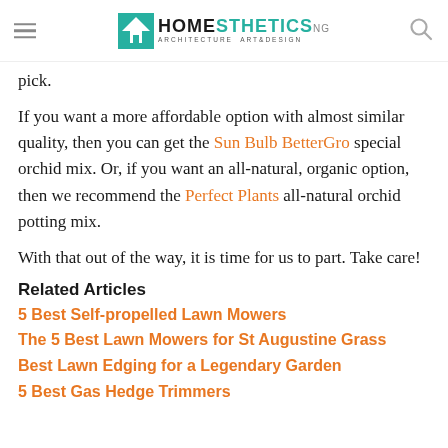Homesthetics - Architecture Art & Design
pick.
If you want a more affordable option with almost similar quality, then you can get the Sun Bulb BetterGro special orchid mix. Or, if you want an all-natural, organic option, then we recommend the Perfect Plants all-natural orchid potting mix.
With that out of the way, it is time for us to part. Take care!
Related Articles
5 Best Self-propelled Lawn Mowers
The 5 Best Lawn Mowers for St Augustine Grass
Best Lawn Edging for a Legendary Garden
5 Best Gas Hedge Trimmers